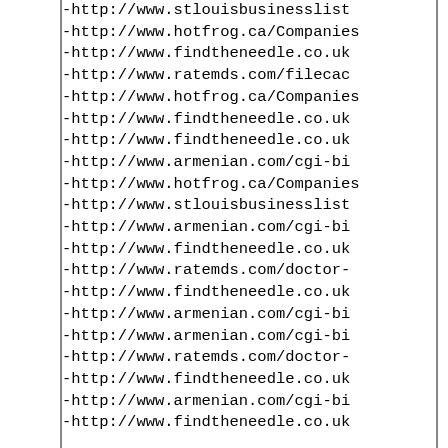-http://www.stlouisbusinesslist
-http://www.hotfrog.ca/Companies
-http://www.findtheneedle.co.uk
-http://www.ratemds.com/filecac
-http://www.hotfrog.ca/Companies
-http://www.findtheneedle.co.uk
-http://www.findtheneedle.co.uk
-http://www.armenian.com/cgi-bi
-http://www.hotfrog.ca/Companies
-http://www.stlouisbusinesslist
-http://www.armenian.com/cgi-bi
-http://www.findtheneedle.co.uk
-http://www.ratemds.com/doctor-
-http://www.findtheneedle.co.uk
-http://www.armenian.com/cgi-bi
-http://www.armenian.com/cgi-bi
-http://www.ratemds.com/doctor-
-http://www.findtheneedle.co.uk
-http://www.armenian.com/cgi-bi
-http://www.findtheneedle.co.uk